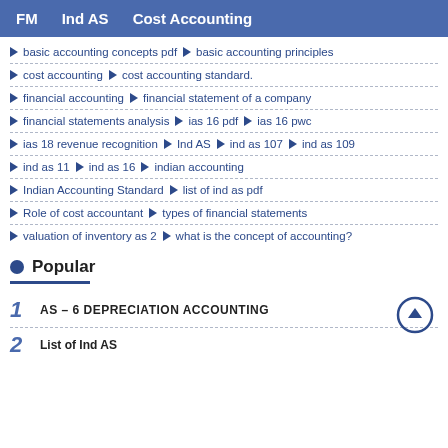FM   Ind AS   Cost Accounting
basic accounting concepts pdf  basic accounting principles
cost accounting  cost accounting standard.
financial accounting  financial statement of a company
financial statements analysis  ias 16 pdf  ias 16 pwc
ias 18 revenue recognition  Ind AS  ind as 107  ind as 109
ind as 11  ind as 16  indian accounting
Indian Accounting Standard  list of ind as pdf
Role of cost accountant  types of financial statements
valuation of inventory as 2  what is the concept of accounting?
Popular
1  AS – 6 DEPRECIATION ACCOUNTING
2  List of Ind AS